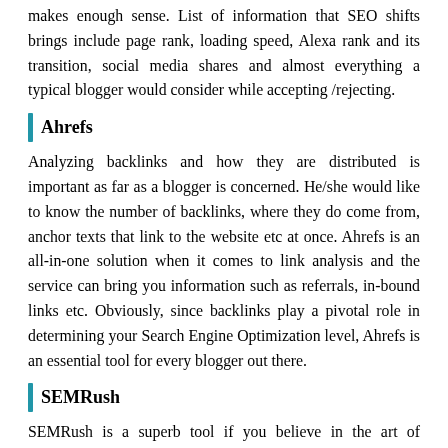makes enough sense. List of information that SEO shifts brings include page rank, loading speed, Alexa rank and its transition, social media shares and almost everything a typical blogger would consider while accepting /rejecting.
Ahrefs
Analyzing backlinks and how they are distributed is important as far as a blogger is concerned. He/she would like to know the number of backlinks, where they do come from, anchor texts that link to the website etc at once. Ahrefs is an all-in-one solution when it comes to link analysis and the service can bring you information such as referrals, in-bound links etc. Obviously, since backlinks play a pivotal role in determining your Search Engine Optimization level, Ahrefs is an essential tool for every blogger out there.
SEMRush
SEMRush is a superb tool if you believe in the art of comparing data with that of your competitor and determining a lot of factors about your website and its development. Once